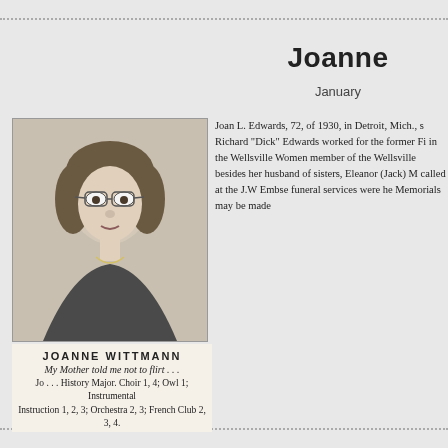Joanne
January
[Figure (photo): Black and white yearbook portrait photo of a young woman with wavy hair and glasses, labeled JOANNE WITTMANN]
JOANNE WITTMANN
My Mother told me not to flirt . . .
Jo . . . History Major. Choir 1, 4; Owl 1; Instrumental Instruction 1, 2, 3; Orchestra 2, 3; French Club 2, 3, 4.
Joan L. Edwards, 72, of 1930, in Detroit, Mich., s Richard "Dick" Edwards worked for the former Fi in the Wellsville Women member of the Wellsville besides her husband of sisters, Eleanor (Jack) M called at the J.W Embse funeral services were he Memorials may be made